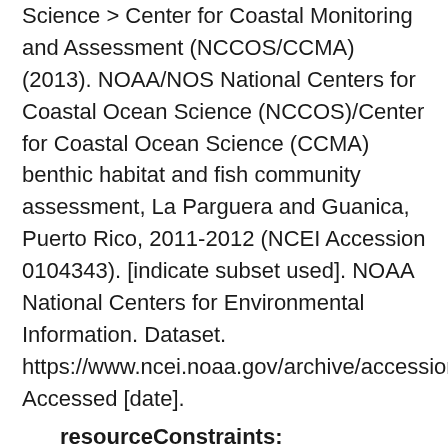Science > Center for Coastal Monitoring and Assessment (NCCOS/CCMA) (2013). NOAA/NOS National Centers for Coastal Ocean Science (NCCOS)/Center for Coastal Ocean Science (CCMA) benthic habitat and fish community assessment, La Parguera and Guanica, Puerto Rico, 2011-2012 (NCEI Accession 0104343). [indicate subset used]. NOAA National Centers for Environmental Information. Dataset. https://www.ncei.noaa.gov/archive/accession/0104343 Accessed [date].
resourceConstraints: (MD_LegalConstraints)
useLimitation: Distribution liability: NOAA and NCEI make no warranty, expressed or implied, regarding these data, nor does the fact of distribution constitute such a warranty. NOAA and NCEI cannot assume liability for any damages